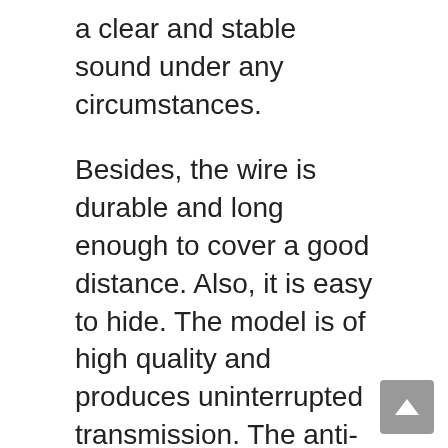a clear and stable sound under any circumstances.
Besides, the wire is durable and long enough to cover a good distance. Also, it is easy to hide. The model is of high quality and produces uninterrupted transmission. The anti-noise effect is super for a smooth and clear sound system. Thus, it controls and keeps off background noise from disturbing the audio system.
Furthermore, it has a 2.5mm plug to suit any pathfinder unit. The microphone can also work for external Bluetooth interface